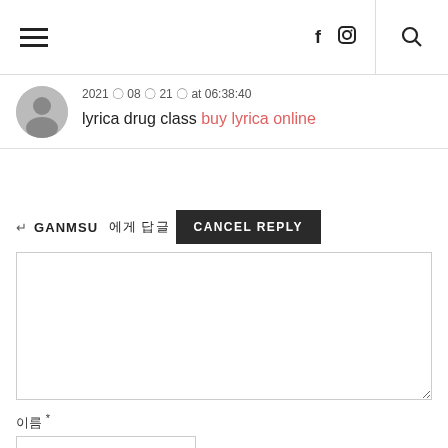Navigation header with hamburger menu, social icons (f, camera), and search icon
2021 • 08 • 21 • at 06:38:40
lyrica drug class buy lyrica online
↵ GANMSU 에게 답글 CANCEL REPLY
(comment textarea - empty)
이름 *
(name input field)